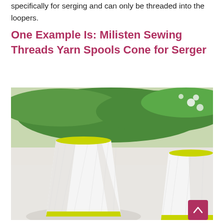specifically for serging and can only be threaded into the loopers.
One Example Is: Milisten Sewing Threads Yarn Spools Cone for Serger
[Figure (photo): Photo of two large white thread cones/spools with yellow-green ends, placed on a white surface with green leaves and white flowers in the background. Product photo for Milisten Sewing Threads Yarn Spools Cone for Serger.]